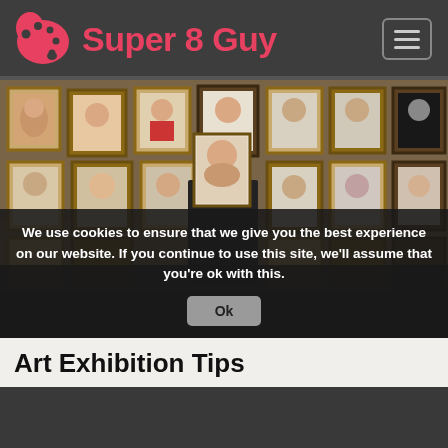Super 8 Guy
[Figure (photo): An art gallery or studio with dozens of framed portrait paintings covering the wall. A person in a dark shirt is holding up a portrait painting, viewing it against the wall of framed artworks.]
We use cookies to ensure that we give you the best experience on our website. If you continue to use this site, we'll assume that you're ok with this.
Ok
Art Exhibition Tips